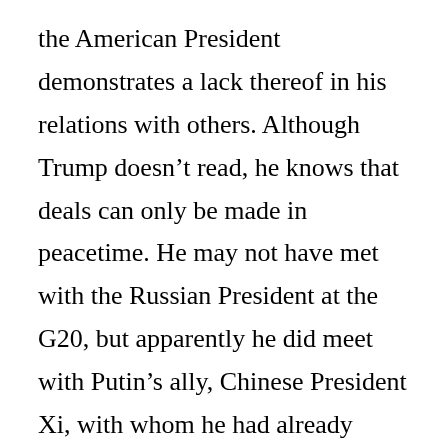the American President demonstrates a lack thereof in his relations with others. Although Trump doesn't read, he knows that deals can only be made in peacetime. He may not have met with the Russian President at the G20, but apparently he did meet with Putin's ally, Chinese President Xi, with whom he had already forged a relationship at Mar a Lago during the early days of his presidency, and which he nurtured by reaching out to North Korea's Kim Jong Un. Apparently, as the two